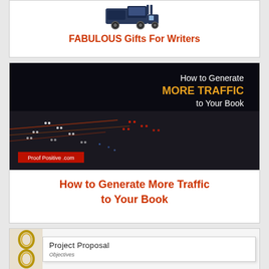[Figure (illustration): Stylized truck/vehicle icon in dark blue/grey tones]
FABULOUS Gifts For Writers
[Figure (photo): Aerial night photo of heavy highway traffic with text overlay: 'How to Generate MORE TRAFFIC to Your Book' and ProofPositive.com watermark]
How to Generate More Traffic to Your Book
[Figure (photo): Photo of a binder with 'Project Proposal' and 'Objectives' visible on the pages]